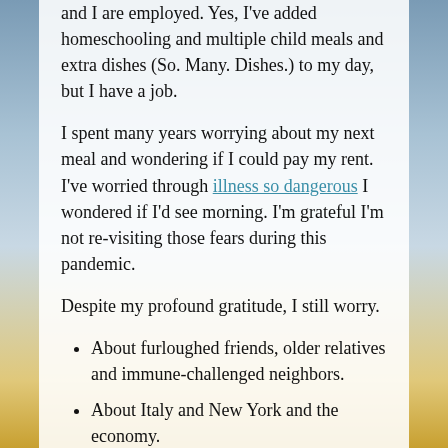and I are employed. Yes, I've added homeschooling and multiple child meals and extra dishes (So. Many. Dishes.) to my day, but I have a job.
I spent many years worrying about my next meal and wondering if I could pay my rent. I've worried through illness so dangerous I wondered if I'd see morning. I'm grateful I'm not re-visiting those fears during this pandemic.
Despite my profound gratitude, I still worry.
About furloughed friends, older relatives and immune-challenged neighbors.
About Italy and New York and the economy.
About whether my child will learn a damn